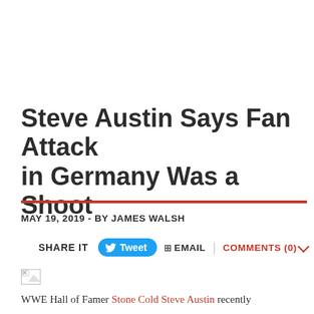Steve Austin Says Fan Attack in Germany Was a Shoot
MAY 19, 2019 - BY JAMES WALSH
SHARE IT  Tweet  EMAIL  COMMENTS (0)
[Figure (photo): Broken/missing image placeholder]
WWE Hall of Famer Stone Cold Steve Austin recently